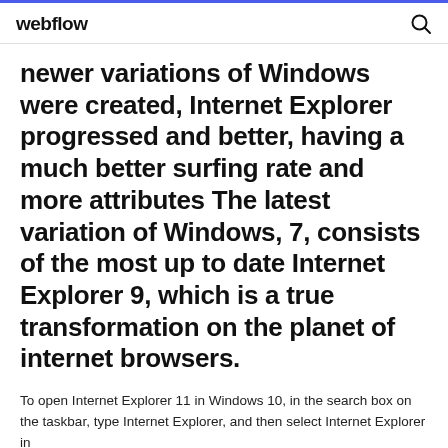webflow
newer variations of Windows were created, Internet Explorer progressed and better, having a much better surfing rate and more attributes The latest variation of Windows, 7, consists of the most up to date Internet Explorer 9, which is a true transformation on the planet of internet browsers.
To open Internet Explorer 11 in Windows 10, in the search box on the taskbar, type Internet Explorer, and then select Internet Explorer in